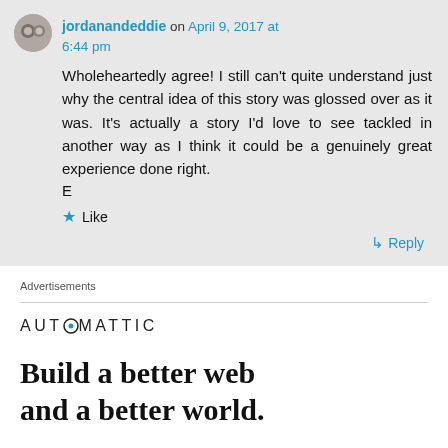jordanandeddie on April 9, 2017 at 6:44 pm
Wholeheartedly agree! I still can't quite understand just why the central idea of this story was glossed over as it was. It's actually a story I'd love to see tackled in another way as I think it could be a genuinely great experience done right.
E
★ Like
↳ Reply
Advertisements
AUTOMATTIC
Build a better web and a better world.